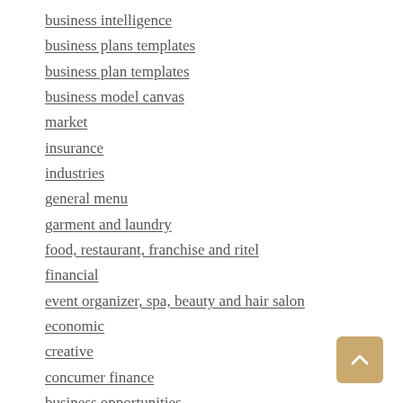business intelligence
business plans templates
business plan templates
business model canvas
market
insurance
industries
general menu
garment and laundry
food, restaurant, franchise and ritel
financial
event organizer, spa, beauty and hair salon
economic
creative
concumer finance
business opportunities